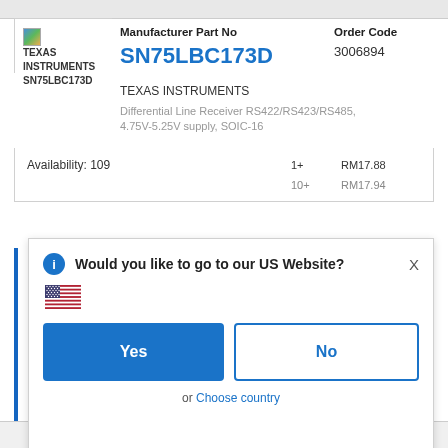[Figure (logo): Texas Instruments SN75LBC173D product logo placeholder image]
TEXAS INSTRUMENTS SN75LBC173D
Manufacturer Part No
SN75LBC173D
Order Code
3006894
TEXAS INSTRUMENTS
Differential Line Receiver RS422/RS423/RS485, 4.75V-5.25V supply, SOIC-16
Availability: 109
| Qty | Price |
| --- | --- |
| 1+ | RM17.88 |
| 10+ | RM17.94 |
Would you like to go to our US Website?
[Figure (illustration): US flag emoji]
Yes
No
or Choose country
Remember this choice and automatically redirect me in the future
MAXIM INTEGRATED / ANALOG DEVICES